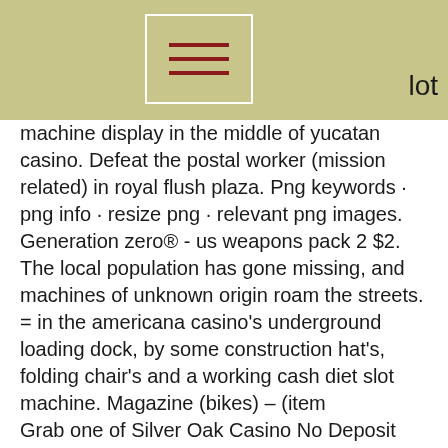lot
machine display in the middle of yucatan casino. Defeat the postal worker (mission related) in royal flush plaza. Png keywords · png info · resize png · relevant png images. Generation zero® - us weapons pack 2 $2. The local population has gone missing, and machines of unknown origin roam the streets. = in the americana casino's underground loading dock, by some construction hat's, folding chair's and a working cash diet slot machine. Magazine (bikes) – (item
Grab one of Silver Oak Casino No Deposit Bonus Codes for New and Existing players June 2021 ? Largest offers of Welcome, Signup,., dead rising 2 slot machine.
Wild Casino Welcome Bonus Codes May 2021. May 25, 2021 Wild Casino Bonus Bonus Code Details Terms; 250% Welcome